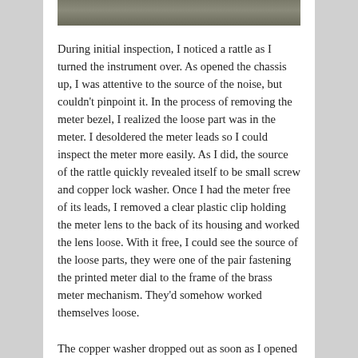[Figure (photo): Partial image of an instrument chassis or meter at the top of the page, showing a metallic/mechanical device.]
During initial inspection, I noticed a rattle as I turned the instrument over. As opened the chassis up, I was attentive to the source of the noise, but couldn't pinpoint it. In the process of removing the meter bezel, I realized the loose part was in the meter. I desoldered the meter leads so I could inspect the meter more easily. As I did, the source of the rattle quickly revealed itself to be small screw and copper lock washer. Once I had the meter free of its leads, I removed a clear plastic clip holding the meter lens to the back of its housing and worked the lens loose. With it free, I could see the source of the loose parts, they were one of the pair fastening the printed meter dial to the frame of the brass meter mechanism. They'd somehow worked themselves loose.
The copper washer dropped out as soon as I opened the meter housing, but I lost track of the screw. It wasn't on my workbench, and gentle tapping of the meter housing didn't shake it loose. I went in search of a suitable tool for